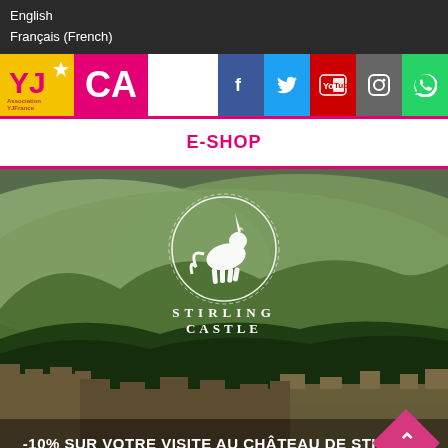English
Français (French)
[Figure (logo): YJCA logo with yellow and pink brand marks, and social media icons for Facebook, Twitter, YouTube, Instagram, WhatsApp]
E-SHOP
[Figure (photo): Stirling Castle with green hillside background, Stirling Castle unicorn logo in white, text '-10% SUR VOTRE VISITE AU CHÂTEAU DE STIRLING' overlaid at bottom, pink diamond arrow button at bottom right]